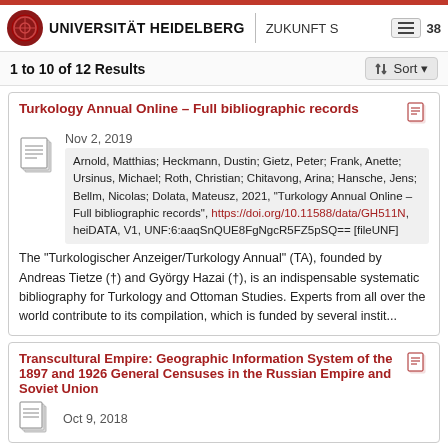UNIVERSITÄT HEIDELBERG | ZUKUNFT S... 38
1 to 10 of 12 Results
Turkology Annual Online – Full bibliographic records
Nov 2, 2019
Arnold, Matthias; Heckmann, Dustin; Gietz, Peter; Frank, Anette; Ursinus, Michael; Roth, Christian; Chitavong, Arina; Hansche, Jens; Bellm, Nicolas; Dolata, Mateusz, 2021, "Turkology Annual Online – Full bibliographic records", https://doi.org/10.11588/data/GH511N, heiDATA, V1, UNF:6:aaqSnQUE8FgNgcR5FZ5pSQ== [fileUNF]
The "Turkologischer Anzeiger/Turkology Annual" (TA), founded by Andreas Tietze (†) and György Hazai (†), is an indispensable systematic bibliography for Turkology and Ottoman Studies. Experts from all over the world contribute to its compilation, which is funded by several instit...
Transcultural Empire: Geographic Information System of the 1897 and 1926 General Censuses in the Russian Empire and Soviet Union
Oct 9, 2018